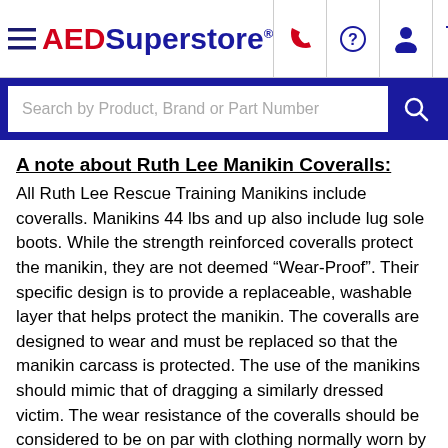AEDSuperstore
A note about Ruth Lee Manikin Coveralls:
All Ruth Lee Rescue Training Manikins include coveralls. Manikins 44 lbs and up also include lug sole boots. While the strength reinforced coveralls protect the manikin, they are not deemed “Wear-Proof”. Their specific design is to provide a replaceable, washable layer that helps protect the manikin. The coveralls are designed to wear and must be replaced so that the manikin carcass is protected. The use of the manikins should mimic that of dragging a similarly dressed victim. The wear resistance of the coveralls should be considered to be on par with clothing normally worn by the victims. The included coveralls protect the manikin when used during rescue training. The coveralls are not designed to endure the rigors of firefighter drags or physical agility training. The coveralls and boots should